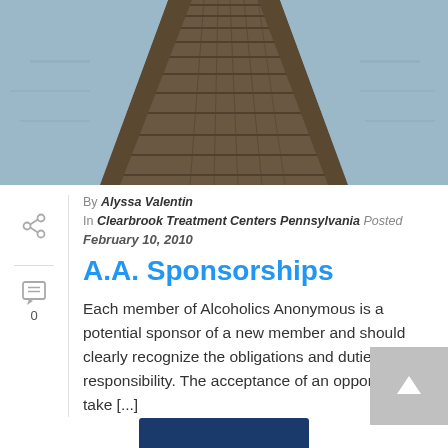[Figure (photo): A wooden dock or boardwalk extending toward the horizon over water, viewed from above at a perspective angle. The wood planks are aged and weathered, with calm blue water visible on the sides.]
By Alyssa Valentin
In Clearbrook Treatment Centers Pennsylvania  Posted
February 10, 2010
A.A. Sponsorships
Each member of Alcoholics Anonymous is a potential sponsor of a new member and should clearly recognize the obligations and duties of such responsibility. The acceptance of an opportunity to take [...]